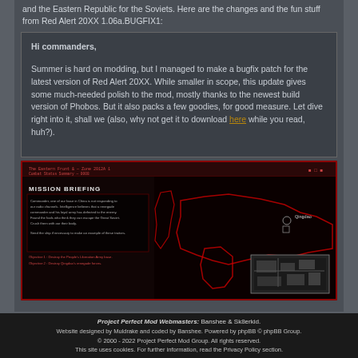and the Eastern Republic for the Soviets. Here are the changes and the fun stuff from Red Alert 20XX 1.06a.BUGFIX1:
Hi commanders,

Summer is hard on modding, but I managed to make a bugfix patch for the latest version of Red Alert 20XX. While smaller in scope, this update gives some much-needed polish to the mod, mostly thanks to the newest build version of Phobos. But it also packs a few goodies, for good measure. Let dive right into it, shall we (also, why not get it to download here while you read, huh?).
[Figure (screenshot): Screenshot of a Red Alert 20XX game interface showing a Mission Briefing screen with a world map in red tones, mission text on the left side, and a map thumbnail in the bottom right corner.]
Project Perfect Mod Webmasters: Banshee & Sk8erkid. Website designed by Muldrake and coded by Banshee. Powered by phpBB © phpBB Group. © 2000 - 2022 Project Perfect Mod Group. All rights reserved. This site uses cookies. For further information, read the Privacy Policy section.